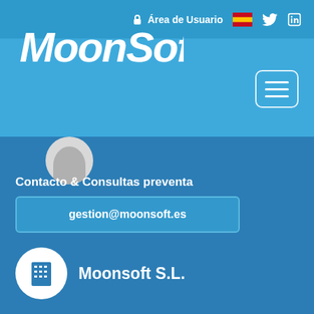MoonSoft
Área de Usuario
Contacto & Consultas preventa
gestion@moonsoft.es
Moonsoft S.L.
Pº General Martínez Campos 41, 6ºA
28260 Madrid